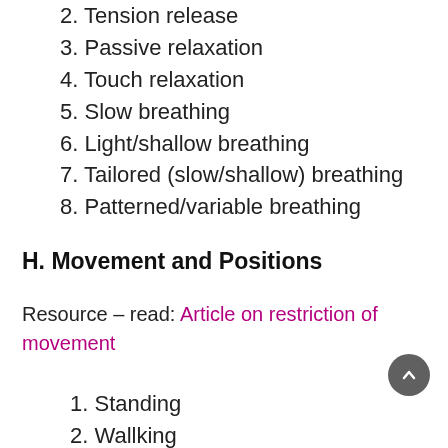2. Tension release
3. Passive relaxation
4. Touch relaxation
5. Slow breathing
6. Light/shallow breathing
7. Tailored (slow/shallow) breathing
8. Patterned/variable breathing
H. Movement and Positions
Resource – read: Article on restriction of movement
1. Standing
2. Wallking